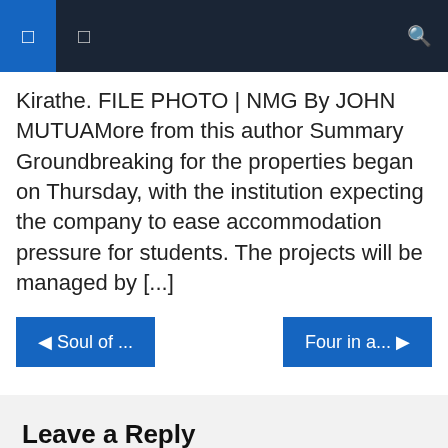Navigation bar with menu and search icons
Kirathe. FILE PHOTO | NMG By JOHN MUTUAMore from this author Summary Groundbreaking for the properties began on Thursday, with the institution expecting the company to ease accommodation pressure for students. The projects will be managed by [...]
◀ Soul of ...
Four in a... ▶
Leave a Reply
Your email address will not be published. Required fields are marked *
Comment *